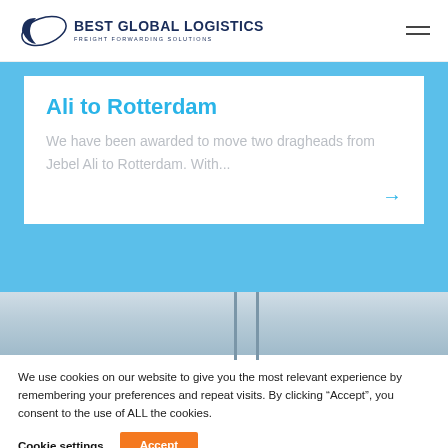BEST GLOBAL LOGISTICS FREIGHT FORWARDING SOLUTIONS
Ali to Rotterdam
We have been awarded to move two dragheads from Jebel Ali to Rotterdam. With...
[Figure (photo): Aerial or close-up view of ship or industrial structure against blue sky]
We use cookies on our website to give you the most relevant experience by remembering your preferences and repeat visits. By clicking “Accept”, you consent to the use of ALL the cookies.
Cookie settings   Accept